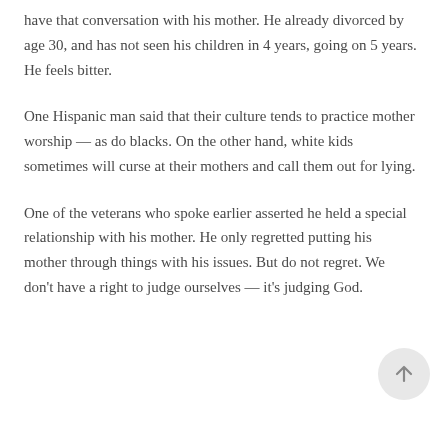have that conversation with his mother. He already divorced by age 30, and has not seen his children in 4 years, going on 5 years. He feels bitter.
One Hispanic man said that their culture tends to practice mother worship — as do blacks. On the other hand, white kids sometimes will curse at their mothers and call them out for lying.
One of the veterans who spoke earlier asserted he held a special relationship with his mother. He only regretted putting his mother through things with his issues. But do not regret. We don't have a right to judge ourselves — it's judging God.